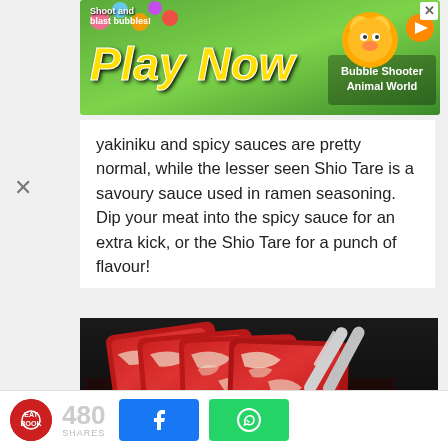[Figure (screenshot): Advertisement banner: green bubble-shooter game ad with 'Play Now' text and cartoon animal character, 'Bubble Shooter Animal World' label]
yakiniku and spicy sauces are pretty normal, while the lesser seen Shio Tare is a savoury sauce used in ramen seasoning. Dip your meat into the spicy sauce for an extra kick, or the Shio Tare for a punch of flavour!
[Figure (photo): Thinly sliced raw wagyu beef with marbling arranged in overlapping slices on a dark plate, held by metal tongs]
480 SHARES  [Facebook share button]  [WhatsApp share button]